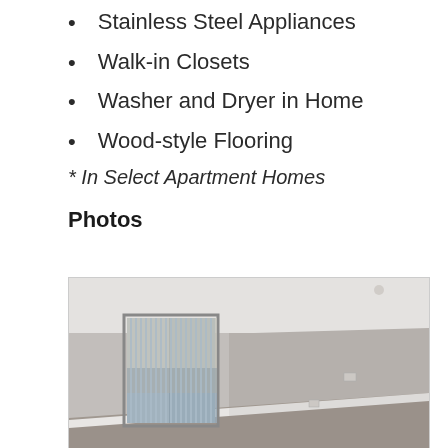Stainless Steel Appliances
Walk-in Closets
Washer and Dryer in Home
Wood-style Flooring
* In Select Apartment Homes
Photos
[Figure (photo): Interior photo of an empty apartment room with grey walls, carpet flooring, vertical blinds on a sliding glass door/window, and white baseboard trim.]